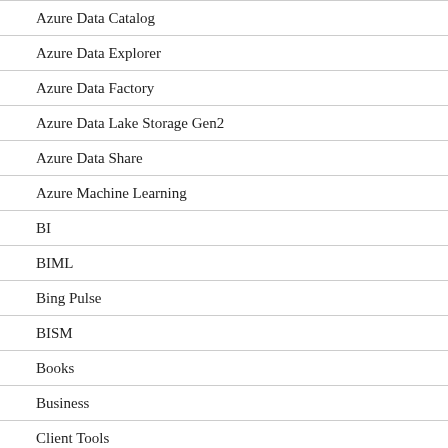Azure Data Catalog
Azure Data Explorer
Azure Data Factory
Azure Data Lake Storage Gen2
Azure Data Share
Azure Machine Learning
BI
BIML
Bing Pulse
BISM
Books
Business
Client Tools
Cloud
Common Data Model